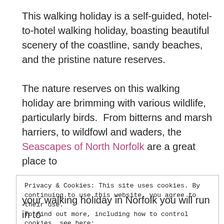This walking holiday is a self-guided, hotel-to-hotel walking holiday, boasting beautiful scenery of the coastline, sandy beaches, and the pristine nature reserves.
The nature reserves on this walking holiday are brimming with various wildlife, particularly birds.  From bitterns and marsh harriers, to wildfowl and waders, the Seascapes of North Norfolk are a great place to
Privacy & Cookies: This site uses cookies. By continuing to use this website, you agree to their use.
To find out more, including how to control cookies, see here:
Cookie Policy
Close and accept
your walking holiday in Norfolk you will run in to